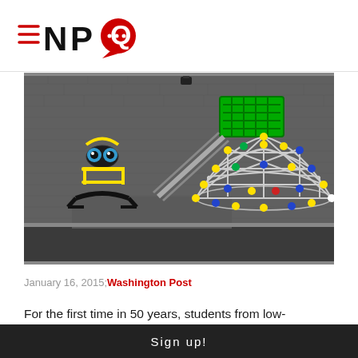[Figure (logo): NPQ (Nonprofit Quarterly) logo with red hamburger menu lines, bold black NPQ text, and red speech bubble icon with ellipsis]
[Figure (photo): Black and white photograph of an urban school playground showing colorful climbing dome structure with colored connector nodes (yellow, blue, green, red), a yellow seesaw/spring rider with bulging eyes, a metal slide, against a brick wall background]
January 16, 2015; Washington Post
For the first time in 50 years, students from low-
Sign up!